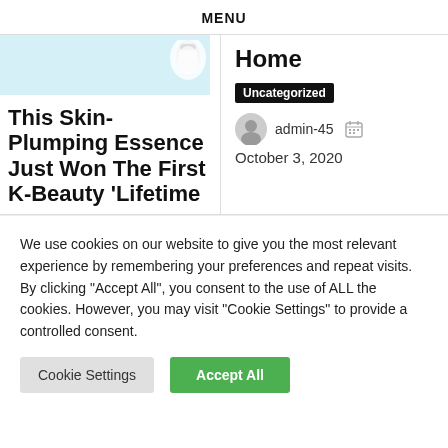MENU
[Figure (photo): Light blue background with a partial product image (cream/serum bottle) in top-left card]
This Skin-Plumping Essence Just Won The First K-Beauty ‘Lifetime
Home
Uncategorized
admin-45  October 3, 2020
We use cookies on our website to give you the most relevant experience by remembering your preferences and repeat visits. By clicking “Accept All”, you consent to the use of ALL the cookies. However, you may visit “Cookie Settings” to provide a controlled consent.
Cookie Settings
Accept All